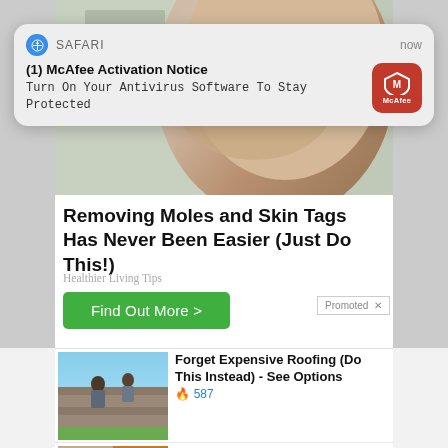[Figure (screenshot): Safari browser push notification popup for McAfee Activation Notice with McAfee red logo icon]
[Figure (photo): Close-up photo of a person's neck/chin area, skin texture visible - related to moles and skin tags article]
Removing Moles and Skin Tags Has Never Been Easier (Just Do This!)
Healthier Living Tips
Find Out More >
Promoted X
[Figure (photo): Workers on a rooftop doing roofing work]
Forget Expensive Roofing (Do This Instead) - See Options
🔥 587
[Figure (photo): Fitness/health related images - person and spices]
A Teaspoon On An Empty Stomach Burns Fat Like Crazy!
🔥 128,339